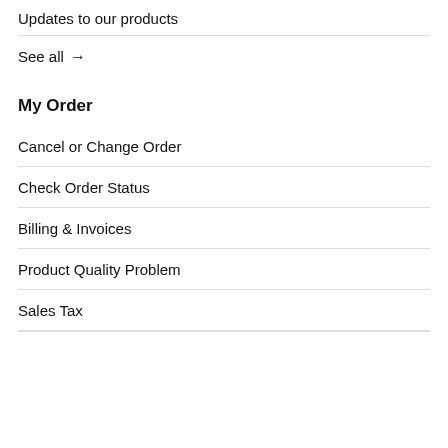Updates to our products
See all →
My Order
Cancel or Change Order
Check Order Status
Billing & Invoices
Product Quality Problem
Sales Tax